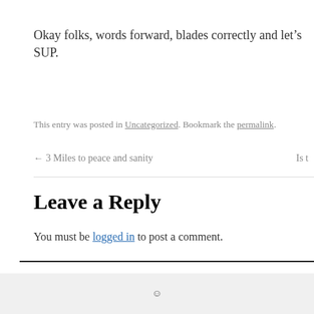Okay folks, words forward, blades correctly and let’s SUP.
This entry was posted in Uncategorized. Bookmark the permalink.
← 3 Miles to peace and sanity   Is t
Leave a Reply
You must be logged in to post a comment.
Hilly Report – From SUP, Kayaking, Surfing to Beyond